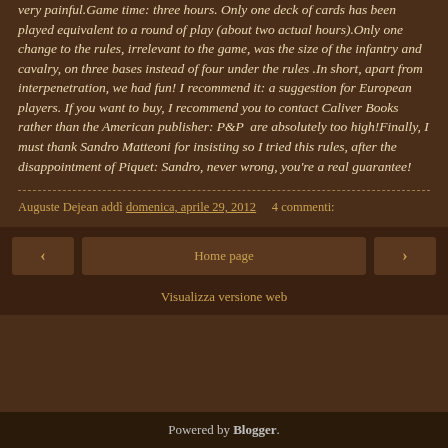very painful.Game time: three hours. Only one deck of cards has been played equivalent to a round of play (about two actual hours).Only one change to the rules, irrelevant to the game, was the size of the infantry and cavalry, on three bases instead of four under the rules .In short, apart from interpenetration, we had fun! I recommend it: a suggestion for European players. If you want to buy, I recommend you to contact Caliver Books rather than the American publisher: P&P are absolutely too high!Finally, I must thank Sandro Matteoni for insisting so I tried this rules, after the disappointment of Piquet: Sandro, never wrong, you're a real guarantee!
Auguste Dejean addì domenica, aprile 29, 2012   4 commenti:
‹   Home page   ›
Visualizza versione web
Powered by Blogger.